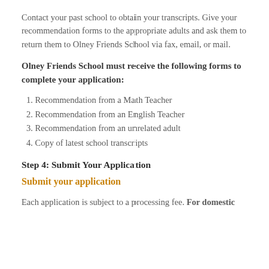Contact your past school to obtain your transcripts. Give your recommendation forms to the appropriate adults and ask them to return them to Olney Friends School via fax, email, or mail.
Olney Friends School must receive the following forms to complete your application:
1. Recommendation from a Math Teacher
2. Recommendation from an English Teacher
3. Recommendation from an unrelated adult
4. Copy of latest school transcripts
Step 4: Submit Your Application
Submit your application
Each application is subject to a processing fee. For domestic